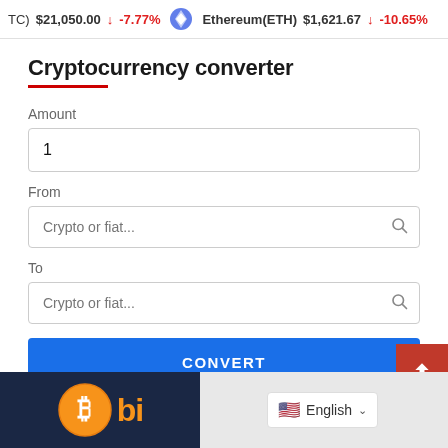TC) $21,050.00 ↓ -7.77%  Ethereum(ETH) $1,621.67 ↓ -10.65%
Cryptocurrency converter
Amount
1
From
Crypto or fiat...
To
Crypto or fiat...
CONVERT
[Figure (screenshot): Bottom banner with Bitcoin logo graphic and English language selector dropdown]
English